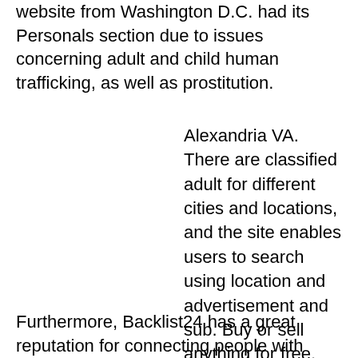website from Washington D.C. had its Personals section due to issues concerning adult and child human trafficking, as well as prostitution.
Alexandria VA. There are classified adult for different cities and locations, and the site enables users to search using location and advertisement and sub. Buy or sell anything for free.
Furthermore, Backlist24 has a great reputation for connecting people with services. If you are looking for a secure free